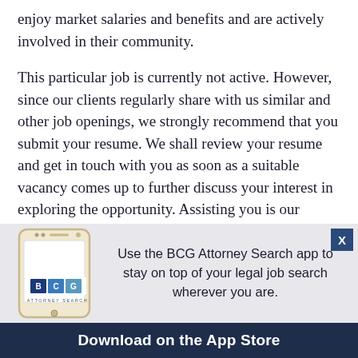enjoy market salaries and benefits and are actively involved in their community.
This particular job is currently not active. However, since our clients regularly share with us similar and other job openings, we strongly recommend that you submit your resume. We shall review your resume and get in touch with you as soon as a suitable vacancy comes up to further discuss your interest in exploring the opportunity. Assisting you is our highest priority.
[Figure (infographic): BCG Attorney Search app advertisement banner with phone image showing BCG logo, text 'Use the BCG Attorney Search app to stay on top of your legal job search wherever you are.' and a dark blue footer bar saying 'Download on the App Store'.]